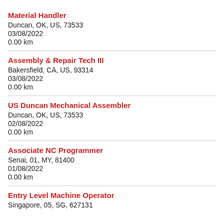Material Handler
Duncan, OK, US, 73533
03/08/2022
0.00 km
Assembly & Repair Tech III
Bakersfield, CA, US, 93314
03/08/2022
0.00 km
US Duncan Mechanical Assembler
Duncan, OK, US, 73533
02/08/2022
0.00 km
Associate NC Programmer
Senai, 01, MY, 81400
01/08/2022
0.00 km
Entry Level Machine Operator
Singapore, 05, SG, 627131